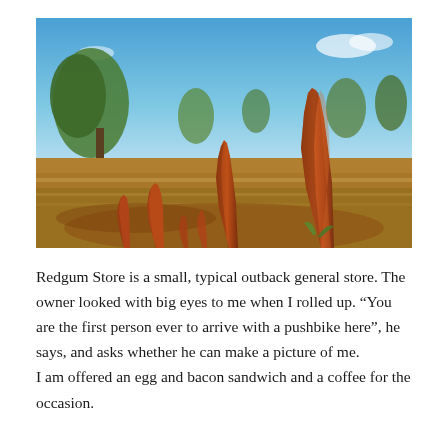[Figure (photo): Outdoor photograph of Australian outback landscape with several tall red termite mounds rising from dry grassland, sparse scrubby trees in the background, and a bright blue sky with light clouds.]
Redgum Store is a small, typical outback general store. The owner looked with big eyes to me when I rolled up. “You are the first person ever to arrive with a pushbike here”, he says, and asks whether he can make a picture of me.
I am offered an egg and bacon sandwich and a coffee for the occasion.